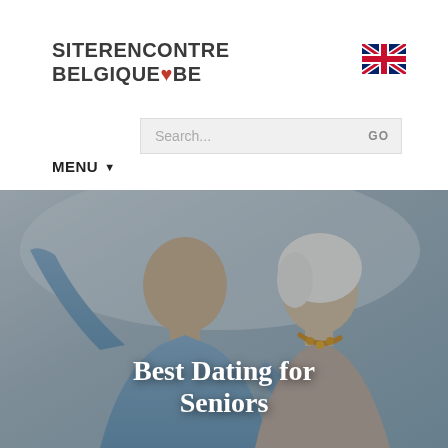SITERENCONTRE BELGIQUE.BE
[Figure (illustration): UK flag icon in top right corner of header]
Search... GO
MENU ▾
[Figure (photo): An elderly couple taking a selfie outdoors, smiling, with a semi-transparent dark overlay. The man on the left has a raised arm holding a camera/phone.]
Best Dating for Seniors